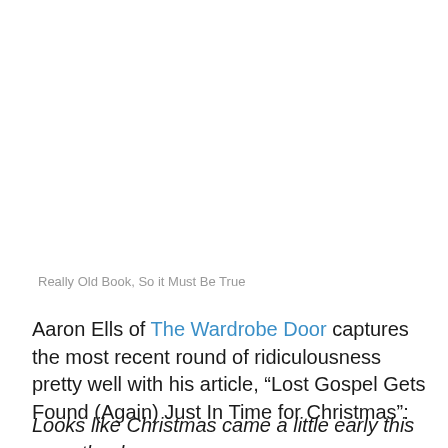Really Old Book, So it Must Be True
Aaron Ells of The Wardrobe Door captures the most recent round of ridiculousness pretty well with his article, “Lost Gospel Gets Found (Again) Just In Time for Christmas”:
Looks like Christmas came a little early this year, thanks,